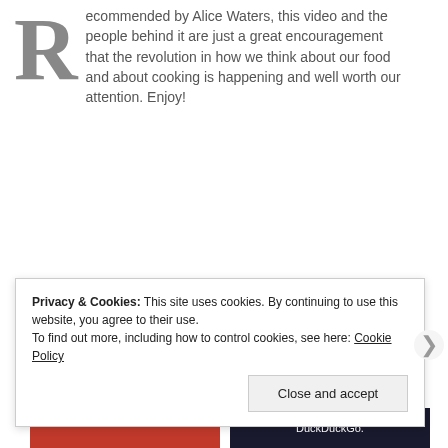ecommended by Alice Waters, this video and the people behind it are just a great encouragement that the revolution in how we think about our food and about cooking is happening and well worth our attention. Enjoy!
Privacy & Cookies: This site uses cookies. By continuing to use this website, you agree to their use. To find out more, including how to control cookies, see here: Cookie Policy